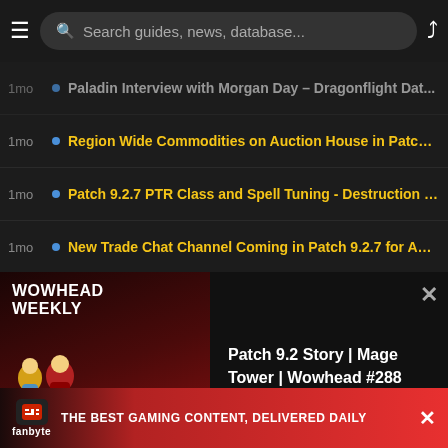Search guides, news, database...
1mo · Paladin Interview with Morgan Day - Dragonflight Dat...
1mo · Region Wide Commodities on Auction House in Patch 9....
1mo · Patch 9.2.7 PTR Class and Spell Tuning - Destruction W...
1mo · New Trade Chat Channel Coming in Patch 9.2.7 for Adv...
1mo · PTR Updated to Shadowlands Patch 9.2.7 Build 44444
2mo · Tyrande and Winter Queen Datamined Conversation in ...
2mo · Anduin and Sylvanas Datamined Dialogue in Patch 9.2.5...
2mo · Calia Menethil and Lilian Voss Datamined Story Hints in...
3mo · Patch 9.2.5 PTR Trinket Tuning - PvP Nerfs
3mo · 9.2.5 PTR Glitch Allows for Creation of Cross-Faction G...
[Figure (screenshot): Wowhead Weekly podcast promotional card showing anime-style characters and #288 text]
Patch 9.2 Story | Mage Tower | Wowhead #288
[Figure (infographic): Fanbyte advertisement banner: THE BEST GAMING CONTENT, DELIVERED DAILY]